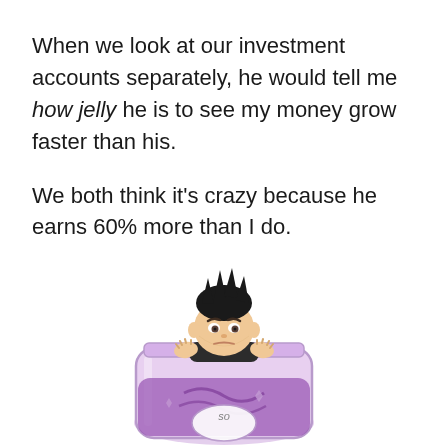When we look at our investment accounts separately, he would tell me how jelly he is to see my money grow faster than his.

We both think it's crazy because he earns 60% more than I do.
[Figure (illustration): A cartoon bitmoji-style illustration of a young man with dark spiky hair peeking over the edge of a purple mason jar filled with purple jelly, looking jealous or sad.]